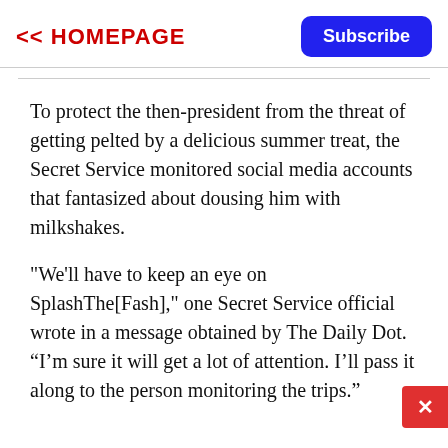<< HOMEPAGE
Subscribe
To protect the then-president from the threat of getting pelted by a delicious summer treat, the Secret Service monitored social media accounts that fantasized about dousing him with milkshakes.
"We'll have to keep an eye on SplashThe[Fash]," one Secret Service official wrote in a message obtained by The Daily Dot. “I’m sure it will get a lot of attention. I’ll pass it along to the person monitoring the trips.”